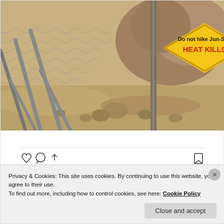[Figure (photo): Desert scene with chain-link fence, rocky ground, and a yellow diamond warning sign reading 'Do not hike Jun-Sep HEAT KILLS' in red letters]
View more on Instagram
Privacy & Cookies: This site uses cookies. By continuing to use this website, you agree to their use.
To find out more, including how to control cookies, see here: Cookie Policy
Close and accept